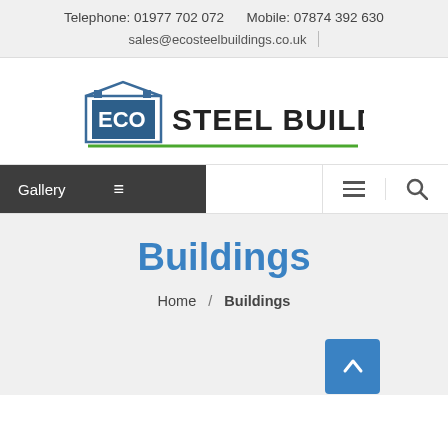Telephone: 01977 702 072    Mobile: 07874 392 630
sales@ecosteelbuildings.co.uk
[Figure (logo): ECO Steel Buildings logo with stylized building icon in blue and white with green underline]
Gallery
Buildings
Home / Buildings